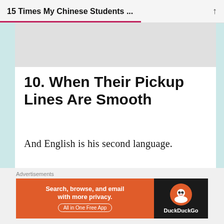15 Times My Chinese Students ...
[Figure (screenshot): Grey image placeholder at top of content card]
10. When Their Pickup Lines Are Smooth
And English is his second language.
[Figure (screenshot): WooCommerce advertisement banner: How to start selling subscriptions online]
[Figure (screenshot): DuckDuckGo advertisement banner: Search, browse, and email with more privacy. All in One Free App]